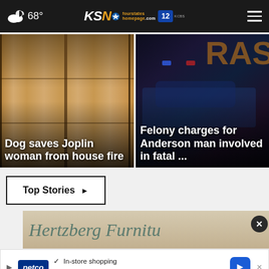68° KSN fourstates homepage .com 12
[Figure (photo): Photo of wooden boards/planks covering a house, with news headline overlay: Dog saves Joplin woman from house fire]
[Figure (photo): Photo of a vehicle crash scene at night with lights, partial text RAS visible, with news headline overlay: Felony charges for Anderson man involved in fatal ...]
Top Stories ▶
[Figure (photo): Advertisement banner for Hertzberg Furniture]
In-store shopping
Curbside pickup